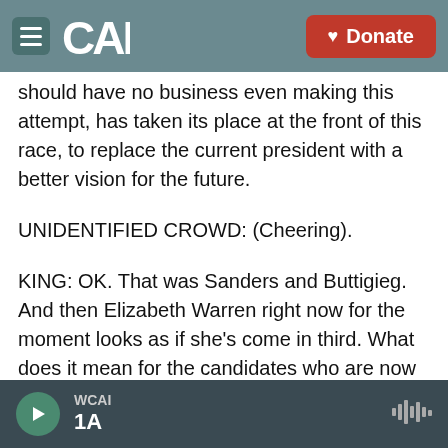CAI | Donate
should have no business even making this attempt, has taken its place at the front of this race, to replace the current president with a better vision for the future.
UNIDENTIFIED CROWD: (Cheering).
KING: OK. That was Sanders and Buttigieg. And then Elizabeth Warren right now for the moment looks as if she's come in third. What does it mean for the candidates who are now at the top, in that top three?
LIASSON: Well, I think that for those candidates,
WCAI | 1A